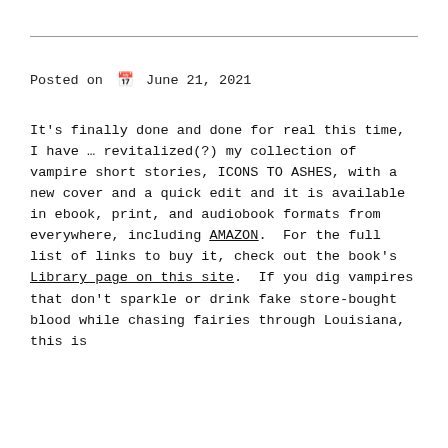Posted on  June 21, 2021
It's finally done and done for real this time, I have … revitalized(?) my collection of vampire short stories, ICONS TO ASHES, with a new cover and a quick edit and it is available in ebook, print, and audiobook formats from everywhere, including AMAZON.  For the full list of links to buy it, check out the book's Library page on this site.  If you dig vampires that don't sparkle or drink fake store-bought blood while chasing fairies through Louisiana, this is